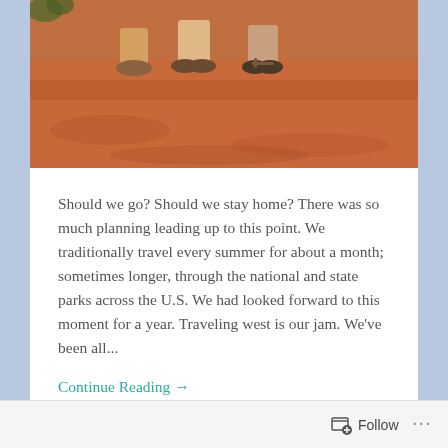[Figure (photo): Partial photo showing feet and legs of people standing on red dirt/sandy ground at a national or state park]
Should we go? Should we stay home? There was so much planning leading up to this point. We traditionally travel every summer for about a month; sometimes longer, through the national and state parks across the U.S. We had looked forward to this moment for a year. Traveling west is our jam. We've been all...
Continue Reading →
Share this:
Follow